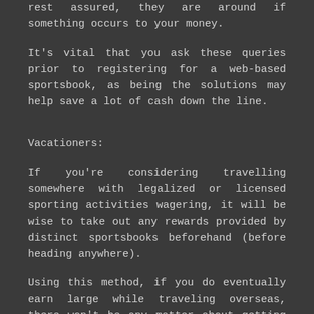rest assured, they are around if something occurs to your money.
It's vital that you ask these queries prior to registering for a web-based sportsbook, as being the solutions may help save a lot of cash down the line.
Vacationers:
If you're considering travelling somewhere with legalized or licensed sporting activities wagering, it will be wise to take out any rewards provided by distinct sportsbooks beforehand (before heading anywhere).
Using this method, if you do eventually earn large while traveling overseas, there won't be any matter about getting paid for out.